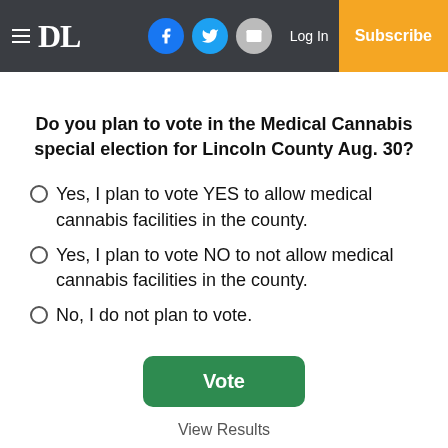DL | Log In | Subscribe
Do you plan to vote in the Medical Cannabis special election for Lincoln County Aug. 30?
Yes, I plan to vote YES to allow medical cannabis facilities in the county.
Yes, I plan to vote NO to not allow medical cannabis facilities in the county.
No, I do not plan to vote.
Vote
View Results